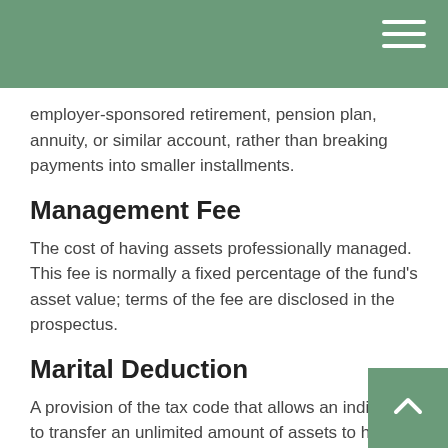employer-sponsored retirement, pension plan, annuity, or similar account, rather than breaking payments into smaller installments.
Management Fee
The cost of having assets professionally managed. This fee is normally a fixed percentage of the fund's asset value; terms of the fee are disclosed in the prospectus.
Marital Deduction
A provision of the tax code that allows an individual to transfer an unlimited amount of assets to his or her spouse at any time—including upon the individual's death—without triggering a tax liability.
Market Risk